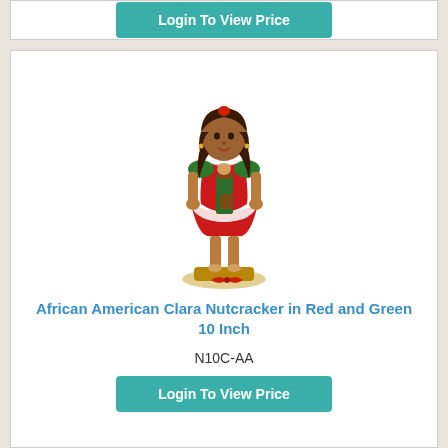[Figure (other): Top card with Login To View Price button (partially visible, cropped at top)]
[Figure (photo): African American Clara Nutcracker doll wearing red and green dress, holding a small nutcracker figure, standing on a gold base with red bow, approximately 10 inches tall]
African American Clara Nutcracker in Red and Green 10 Inch
N10C-AA
[Figure (other): Login To View Price button in teal/green color]